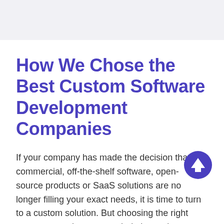How We Chose the Best Custom Software Development Companies
If your company has made the decision that commercial, off-the-shelf software, open-source products or SaaS solutions are no longer filling your exact needs, it is time to turn to a custom solution. But choosing the right company can be an overwhelming task.